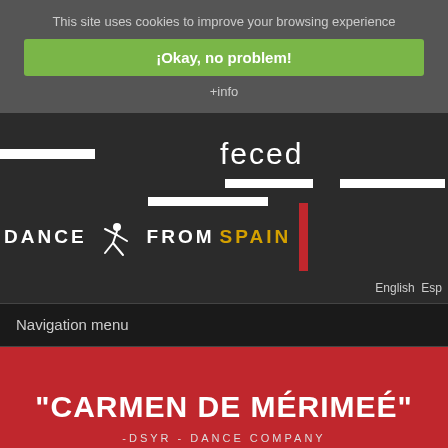This site uses cookies to improve your browsing experience
¡Okay, no problem!
+info
[Figure (logo): feced logo with white horizontal bars and text]
[Figure (logo): Dance From Spain logo with dancer figure, text DANCE FROM SPAIN in white and yellow, and red vertical bar]
English  Esp
Navigation menu
“CARMEN DE MÉRIMÉE”
-DSYR - DANCE COMPANY